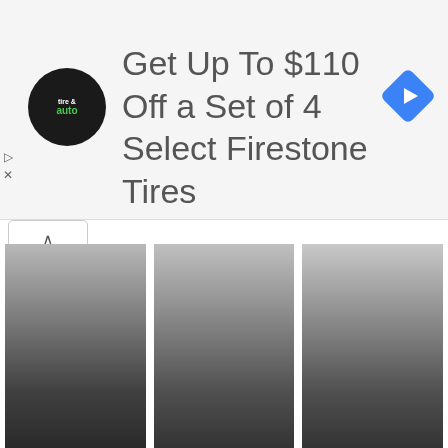[Figure (infographic): Advertisement banner: Firestone tire and auto logo on left, text 'Get Up To $110 Off a Set of 4 Select Firestone Tires', blue diamond navigation icon on right, with play and close controls on far left]
[Figure (photo): Person card thumbnail with gradient background, labeled 'William Wor...' with yellow underline]
[Figure (photo): Person card thumbnail with gradient background, labeled 'Edmund Sp...' with yellow underline]
[Figure (photo): Person card thumbnail with gradient background, labeled 'Malcolm Mu...' with yellow underline]
[Figure (photo): Person card thumbnail with gradient background, labeled 'John Logie ...' with yellow underline]
[Figure (photo): Person card thumbnail with gradient background, labeled 'Joel Smallis...' with yellow underline]
[Figure (photo): Person card thumbnail with gradient background, labeled 'Lynn Fonta...' with yellow underline]
More Libra People
[Figure (photo): Partial person card thumbnail at bottom, light gradient]
[Figure (photo): Partial person card thumbnail at bottom, light gradient]
[Figure (photo): Partial person card thumbnail at bottom, light gradient]